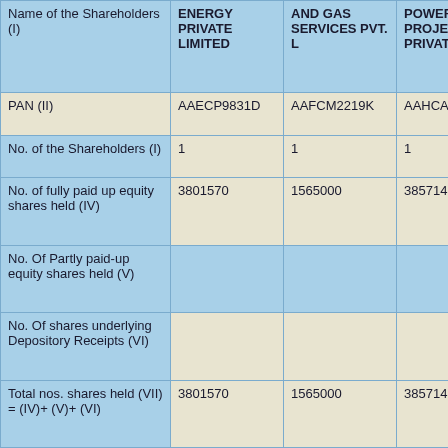| Name of the Shareholders (I) | ENERGY PRIVATE LIMITED | AND GAS SERVICES PVT. L | POWER PROJECTS PRIVATE LIMI |
| --- | --- | --- | --- |
| PAN (II) | AAECP9831D | AAFCM2219K | AAHCA59 |
| No. of the Shareholders (I) | 1 | 1 | 1 |
| No. of fully paid up equity shares held (IV) | 3801570 | 1565000 | 3857145 |
| No. Of Partly paid-up equity shares held (V) |  |  |  |
| No. Of shares underlying Depository Receipts (VI) |  |  |  |
| Total nos. shares held (VII) = (IV)+ (V)+ (VI) | 3801570 | 1565000 | 3857145 |